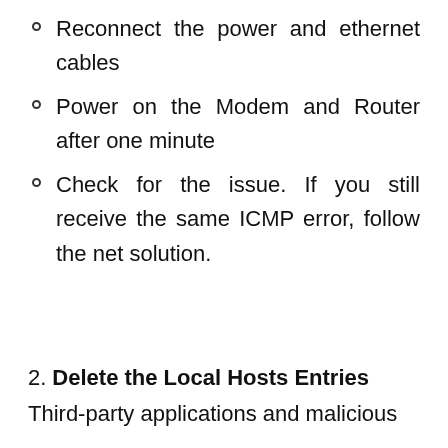Reconnect the power and ethernet cables
Power on the Modem and Router after one minute
Check for the issue. If you still receive the same ICMP error, follow the net solution.
2. Delete the Local Hosts Entries
Third-party applications and malicious